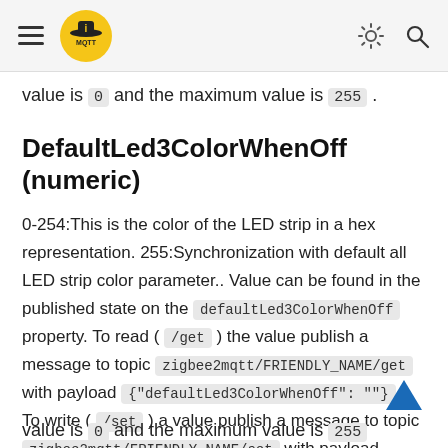MQTT (logo) [hamburger menu, sun icon, search icon]
value is 0 and the maximum value is 255 .
DefaultLed3ColorWhenOff (numeric)
0-254:This is the color of the LED strip in a hex representation. 255:Synchronization with default all LED strip color parameter.. Value can be found in the published state on the defaultLed3ColorWhenOff property. To read ( /get ) the value publish a message to topic zigbee2mqtt/FRIENDLY_NAME/get with payload {"defaultLed3ColorWhenOff": ""} . To write ( /set ) a value publish a message to topic zigbee2mqtt/FRIENDLY_NAME/set with payload {"defaultLed3ColorWhenOff": NEW_VALUE} . The minimal value is 0 and the maximum value is 255
value is 0 and the maximum value is 255